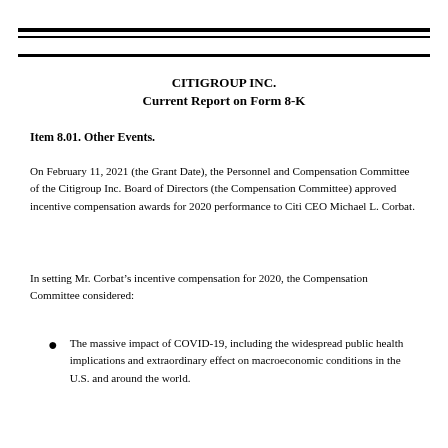CITIGROUP INC.
Current Report on Form 8-K
Item 8.01. Other Events.
On February 11, 2021 (the Grant Date), the Personnel and Compensation Committee of the Citigroup Inc. Board of Directors (the Compensation Committee) approved incentive compensation awards for 2020 performance to Citi CEO Michael L. Corbat.
In setting Mr. Corbat’s incentive compensation for 2020, the Compensation Committee considered:
The massive impact of COVID-19, including the widespread public health implications and extraordinary effect on macroeconomic conditions in the U.S. and around the world.